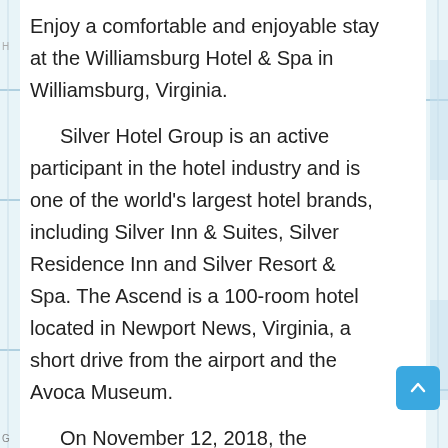Enjoy a comfortable and enjoyable stay at the Williamsburg Hotel & Spa in Williamsburg, Virginia.
Silver Hotel Group is an active participant in the hotel industry and is one of the world's largest hotel brands, including Silver Inn & Suites, Silver Residence Inn and Silver Resort & Spa. The Ascend is a 100-room hotel located in Newport News, Virginia, a short drive from the airport and the Avoca Museum.
On November 12, 2018, the Newport Jerky Company was inspected by the U.S.